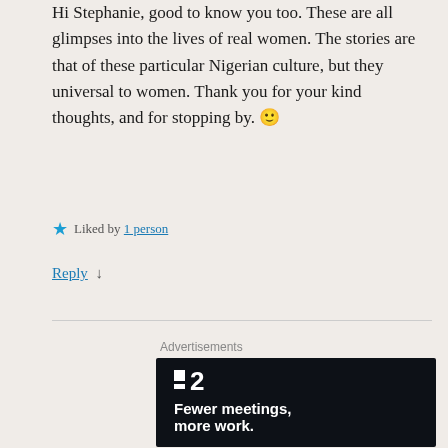Hi Stephanie, good to know you too. These are all glimpses into the lives of real women. The stories are that of these particular Nigerian culture, but they universal to women. Thank you for your kind thoughts, and for stopping by. 🙂
★ Liked by 1 person
Reply ↓
[Figure (infographic): Dark-themed advertisement for a project management tool (Plan2 / ·2). Shows logo with two white squares and '2', bold white text reading 'Fewer meetings, more work.', and a 'Get started for free' button with rounded border.]